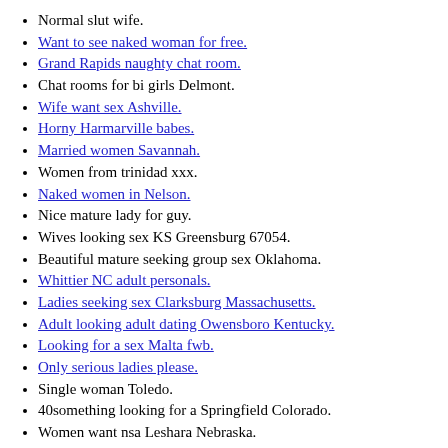Normal slut wife.
Want to see naked woman for free.
Grand Rapids naughty chat room.
Chat rooms for bi girls Delmont.
Wife want sex Ashville.
Horny Harmarville babes.
Married women Savannah.
Women from trinidad xxx.
Naked women in Nelson.
Nice mature lady for guy.
Wives looking sex KS Greensburg 67054.
Beautiful mature seeking group sex Oklahoma.
Whittier NC adult personals.
Ladies seeking sex Clarksburg Massachusetts.
Adult looking adult dating Owensboro Kentucky.
Looking for a sex Malta fwb.
Only serious ladies please.
Single woman Toledo.
40something looking for a Springfield Colorado.
Women want nsa Leshara Nebraska.
Dating service with black women.
Sexy women want sex Lebanon.
Ladies seeking real sex Milltown Wisconsin